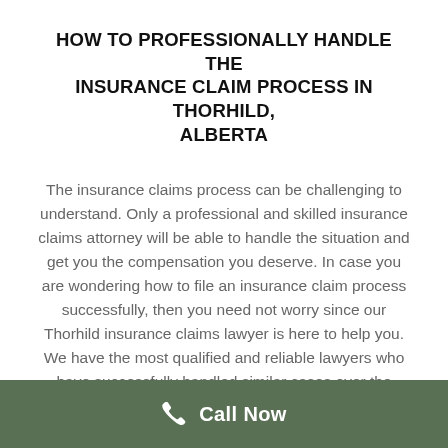HOW TO PROFESSIONALLY HANDLE THE INSURANCE CLAIM PROCESS IN THORHILD, ALBERTA
The insurance claims process can be challenging to understand. Only a professional and skilled insurance claims attorney will be able to handle the situation and get you the compensation you deserve. In case you are wondering how to file an insurance claim process successfully, then you need not worry since our Thorhild insurance claims lawyer is here to help you. We have the most qualified and reliable lawyers who have successfully handled similar cases over the years. They have safeguarded clients' interests in the best manner concerning a car accident insurance
Call Now